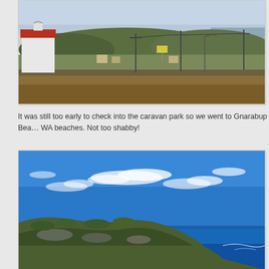[Figure (photo): Landscape photo of a rural town with a white building with a red roof on the left, open fields, hills with vegetation in the background, power poles, and a glimpse of ocean/bay in the distance under a hazy sky.]
It was still too early to check into the caravan park so we went to Gnarabup Bea... WA beaches. Not too shabby!
[Figure (photo): Coastal photo with a vivid blue sky and scattered white clouds, rocky coastline with low scrubby vegetation in the foreground, deep blue ocean water with small waves visible.]